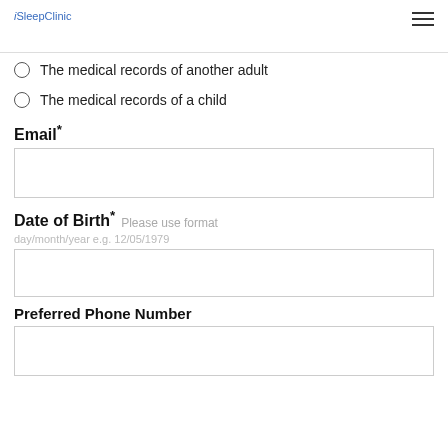iSleepClinic
The medical records of another adult
The medical records of a child
Email*
Date of Birth* Please use format day/month/year e.g. 12/05/1979
Preferred Phone Number